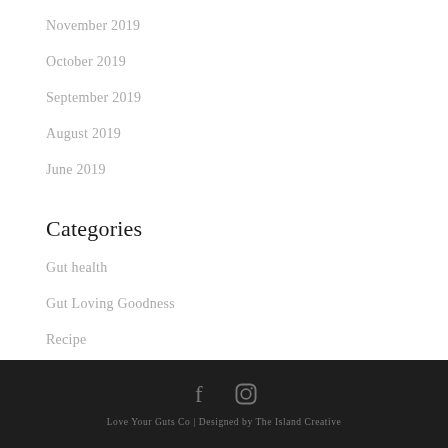November 2019
October 2019
September 2019
August 2019
June 2019
Categories
Gut health
Gut Loving Goodness
Recipe
Love Your Guts Co | Designed by The Island Creative